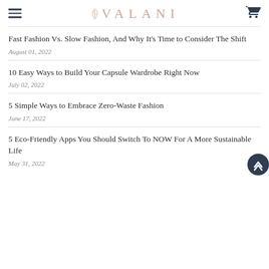VALANI
Fast Fashion Vs. Slow Fashion, And Why It’s Time to Consider The Shift
August 01, 2022
10 Easy Ways to Build Your Capsule Wardrobe Right Now
July 02, 2022
5 Simple Ways to Embrace Zero-Waste Fashion
June 17, 2022
5 Eco-Friendly Apps You Should Switch To NOW For A More Sustainable Life
May 31, 2022